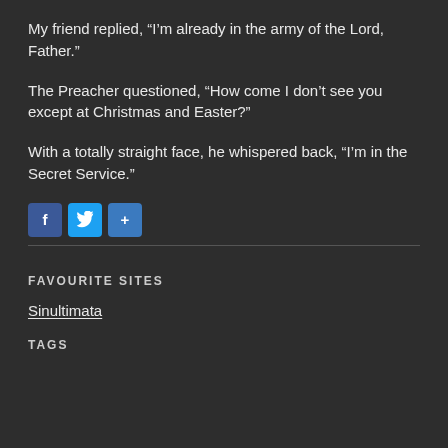My friend replied, “I’m already in the army of the Lord, Father.”
The Preacher questioned, “How come I don’t see you except at Christmas and Easter?”
With a totally straight face, he whispered back, “I’m in the Secret Service.”
[Figure (infographic): Social share buttons: Facebook (blue), Twitter (light blue), and a generic share button (blue with plus sign)]
FAVOURITE SITES
Sinultimata
TAGS